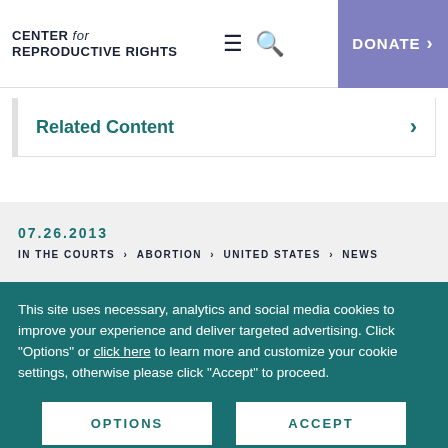CENTER for REPRODUCTIVE RIGHTS
Related Content
07.26.2013
IN THE COURTS > ABORTION > UNITED STATES > NEWS
This site uses necessary, analytics and social media cookies to improve your experience and deliver targeted advertising. Click "Options" or click here to learn more and customize your cookie settings, otherwise please click "Accept" to proceed.
OPTIONS
ACCEPT